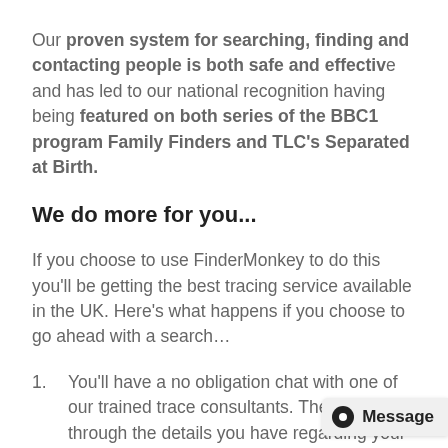Our proven system for searching, finding and contacting people is both safe and effective and has led to our national recognition having being featured on both series of the BBC1 program Family Finders and TLC's Separated at Birth.
We do more for you...
If you choose to use FinderMonkey to do this you'll be getting the best tracing service available in the UK. Here's what happens if you choose to go ahead with a search…
You'll have a no obligation chat with one of our trained trace consultants. They'll run through the details you have regarding your person and they'll talk you through your options to advise how we can help you best. Remember we can find your